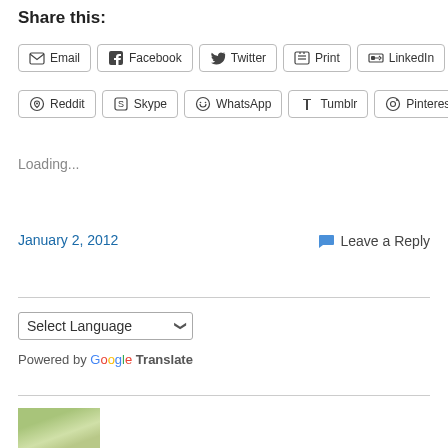Share this:
Email | Facebook | Twitter | Print | LinkedIn | Reddit | Skype | WhatsApp | Tumblr | Pinterest
Loading...
January 2, 2012
Leave a Reply
Select Language
Powered by Google Translate
[Figure (photo): Partial photo visible at bottom of page, appears to show a natural/outdoor scene]